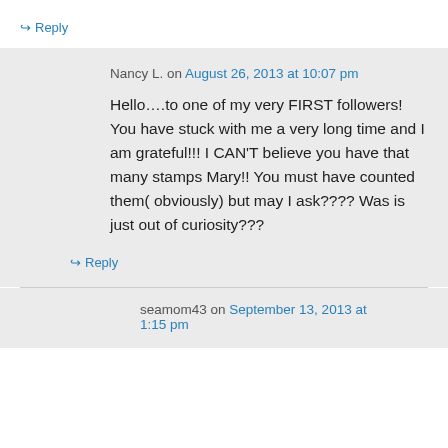↪ Reply
Nancy L. on August 26, 2013 at 10:07 pm
Hello….to one of my very FIRST followers! You have stuck with me a very long time and I am grateful!!! I CAN'T believe you have that many stamps Mary!! You must have counted them( obviously) but may I ask???? Was is just out of curiosity???
↪ Reply
seamom43 on September 13, 2013 at 1:15 pm